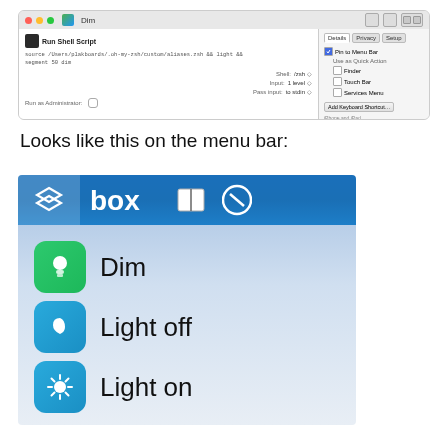[Figure (screenshot): macOS Automator window showing a Run Shell Script action configured for 'Dim' shortcut, with Details/Privacy/Setup panel on the right showing 'Pin to Menu Bar' checked and other options]
Looks like this on the menu bar:
[Figure (screenshot): macOS menu bar showing icons including a layers icon (active), Box, and a split-view icon, with a dropdown below showing three items: Dim (green lightbulb icon), Light off (blue moon icon), Light on (blue sun icon)]